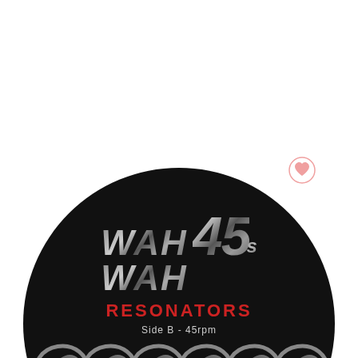[Figure (illustration): A vinyl record label for Wah Wah 45s - Resonators, Side B 45rpm, Sweet Dub Affair. Black circular record with metallic silver text showing 'WAH WAH 45s', red text 'RESONATORS', 'Side B - 45rpm', decorative swirl pattern band, and red text 'Sweet Dub Affair'. A small heart icon appears in the upper right area outside the record.]